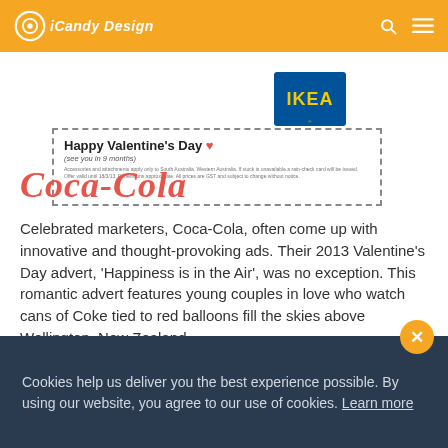iCandy Design
[Figure (other): IKEA Happy Valentine's Day advertisement with dashed border]
Coca-Cola
Celebrated marketers, Coca-Cola, often come up with innovative and thought-provoking ads. Their 2013 Valentine's Day advert, 'Happiness is in the Air', was no exception. This romantic advert features young couples in love who watch cans of Coke tied to red balloons fill the skies above Wellington, New Zealand.
This is a great example of clearly articulating a brand's value and imagery, whilst sharing a feel good and happy message
Cookies help us deliver you the best experience possible. By using our website, you agree to our use of cookies. Learn more